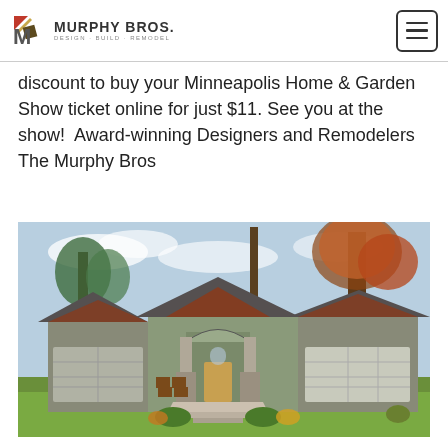Murphy Bros. Design + Build + Remodel
discount to buy your Minneapolis Home & Garden Show ticket online for just $11. See you at the show!  Award-winning Designers and Remodelers The Murphy Bros
[Figure (photo): Exterior photo of a craftsman-style single-story home with stone columns, arched entryway, wood front door, covered porch with chairs, large trees in background, autumn foliage, green lawn in foreground, attached garage on right side.]